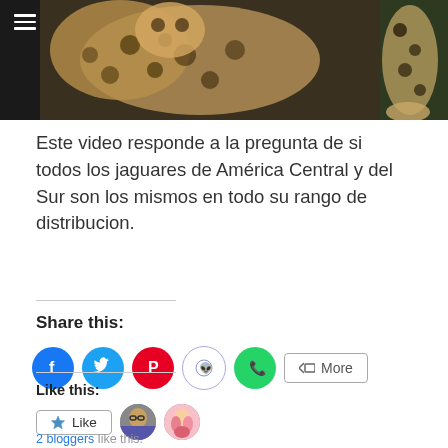[Figure (photo): Two jaguar photos side by side: close-up of jaguar face and spots on left, jaguar legs and paws on right, against dark background]
Este video responde a la pregunta de si todos los jaguares de América Central y del Sur son los mismos en todo su rango de distribucion.
Share this:
[Figure (infographic): Social share buttons: Facebook (blue), Twitter (light blue), Pinterest (red), Reddit (light blue outline), WhatsApp (green), and a More button]
Like this:
[Figure (infographic): Like button and two blogger avatar thumbnails]
2 bloggers like this.